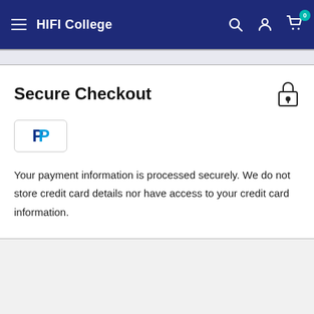HIFI College
Secure Checkout
[Figure (logo): PayPal logo in a bordered box]
Your payment information is processed securely. We do not store credit card details nor have access to your credit card information.